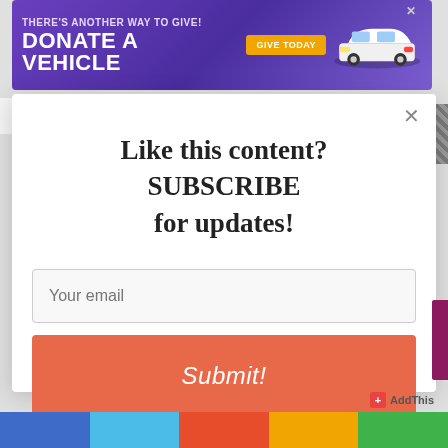[Figure (other): Purple advertisement banner for vehicle donation. Text reads 'THERE'S ANOTHER WAY TO GIVE! DONATE A VEHICLE GIVE TODAY' with an image of a white SUV car.]
Like this content? SUBSCRIBE for updates!
Your email
Submit!
[Figure (other): AddThis social sharing widget at bottom right]